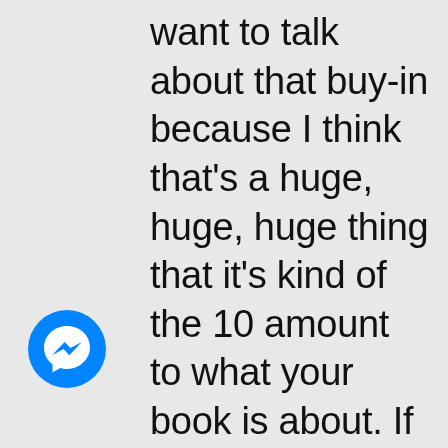want to talk about that buy-in because I think that's a huge, huge, huge thing that it's kind of the 10 amount to what your book is about. If you don't have that, you don't get there. And then I appreciate that question kind of takes us there. And I think the reason that you can do that is because you've become an expert through
[Figure (logo): Facebook Messenger app icon — blue circle with white lightning-bolt speech bubble]